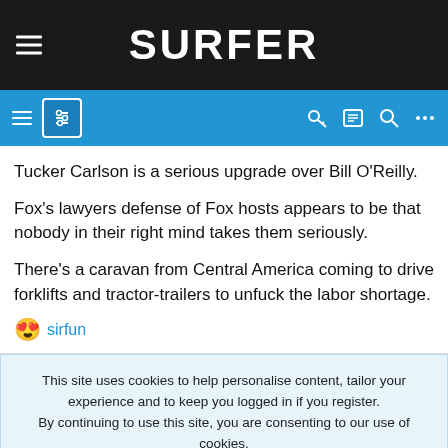SURFER
[Figure (screenshot): Blue navigation bar with hamburger menu, filter icon, key icon, list icon, search icon, and more options icon]
Tucker Carlson is a serious upgrade over Bill O'Reilly.
Fox's lawyers defense of Fox hosts appears to be that nobody in their right mind takes them seriously.
There's a caravan from Central America coming to drive forklifts and tractor-trailers to unfuck the labor shortage.
😍 sirfun
This site uses cookies to help personalise content, tailor your experience and to keep you logged in if you register.
By continuing to use this site, you are consenting to our use of cookies.

ACCEPT   LEARN MORE...